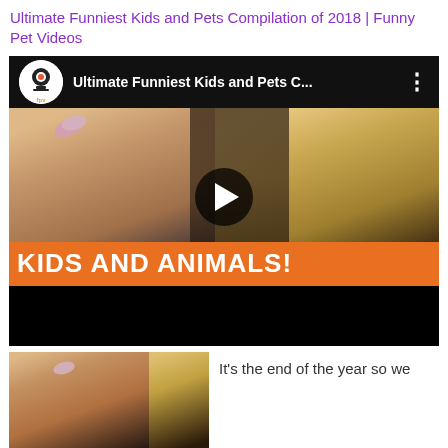Ultimate Funniest Kids and Pets Compilation of 2018 | Funny Pet Videos
[Figure (screenshot): YouTube video embed showing 'Ultimate Funniest Kids and Pets C...' with channel logo (fpv), a thumbnail of a toddler girl with pink bow kissing a Labrador dog nose-to-nose, play button overlay, orange banner reading 'KIDS AND ANIMALS!' and black bottom bar]
[Figure (photo): Thumbnail of toddler girl with pink hair bow facing right toward a dog, bottom portion of image]
It's the end of the year so we